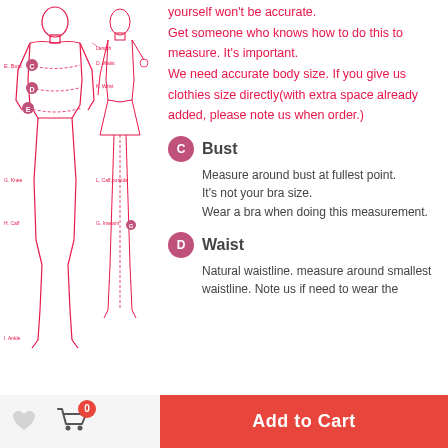[Figure (illustration): Body measurement diagram showing a female figure with labeled measurement points: C (Bust), D (Waist), E (Hip), and other measurement labels including Length, Waist, Wrist, Knee, Calf, Calf outside, and Ankle.]
yourself won't be accurate. Get someone who knows how to do this to measure. It's important. We need accurate body size. If you give us clothies size directly(with extra space already added, please note us when order.)
C Bust
Measure around bust at fullest point.
It's not your bra size.
Wear a bra when doing this measurement.
D Waist
Natural waistline. measure around smallest waistline. Note us if need to wear the
0  Add to Cart